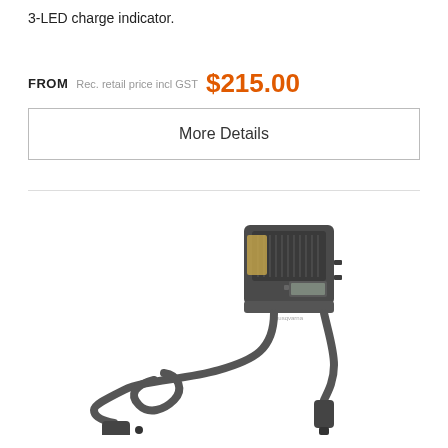3-LED charge indicator.
FROM  Rec. retail price incl GST  $215.00
More Details
[Figure (photo): Husqvarna battery charger device with cable and connector plugs, photographed on white background]